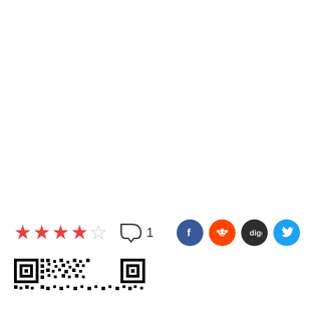[Figure (other): Rating stars (4 out of 5 filled red stars), comment bubble with count '1', and social media share icons for Facebook, Reddit, Digg, and Twitter]
[Figure (other): QR code partial view at the bottom of the page]